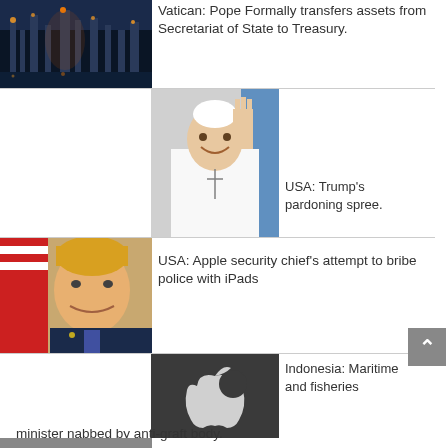[Figure (photo): Night view of an industrial oil refinery with lights]
Vatican: Pope Formally transfers assets from Secretariat of State to Treasury.
[Figure (photo): Pope Francis waving and smiling]
USA: Trump's pardoning spree.
[Figure (photo): Donald Trump smiling in front of an American flag]
USA: Apple security chief's attempt to bribe police with iPads
[Figure (photo): Apple logo on dark background]
Indonesia: Maritime and fisheries minister nabbed by anti-graft body.
[Figure (photo): People in suits at a meeting (partially visible)]